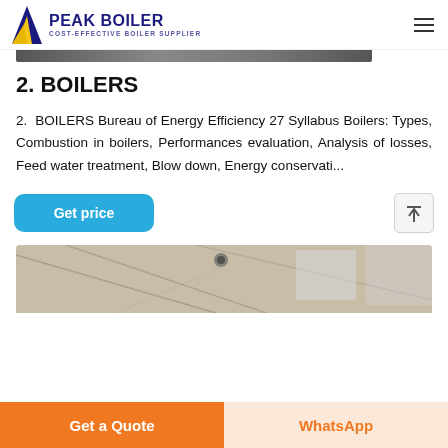PEAK BOILER — COST-EFFECTIVE BOILER SUPPLIER
[Figure (photo): Top portion of a dark industrial image (partial, cropped)]
2. BOILERS
2. BOILERS Bureau of Energy Efficiency 27 Syllabus Boilers: Types, Combustion in boilers, Performances evaluation, Analysis of losses, Feed water treatment, Blow down, Energy conservati...
[Figure (other): Get price button (blue rounded rectangle) and scroll-to-top button]
[Figure (photo): Bottom interior industrial/architectural photo (partial, cropped at bottom)]
Get a Quote
WhatsApp